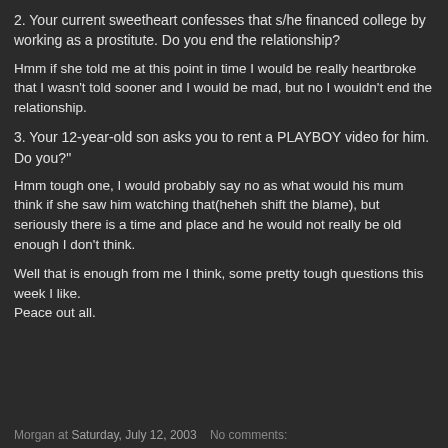2. Your current sweetheart confesses that s/he financed college by working as a prostitute. Do you end the relationship?
Hmm if she told me at this point in time I would be really heartbroke that I wasn't told sooner and I would be mad, but no I wouldn't end the relationship.
3. Your 12-year-old son asks you to rent a PLAYBOY video for him. Do you?"
Hmm tough one, I would probably say no as what would his mum think if she saw him watching that(heheh shift the blame), but seriously there is a time and place and he would not really be old enough I don't think.
Well that is enough from me I think, some pretty tough questions this week I like.
Peace out all.
Morgan at Saturday, July 12, 2003   No comments: